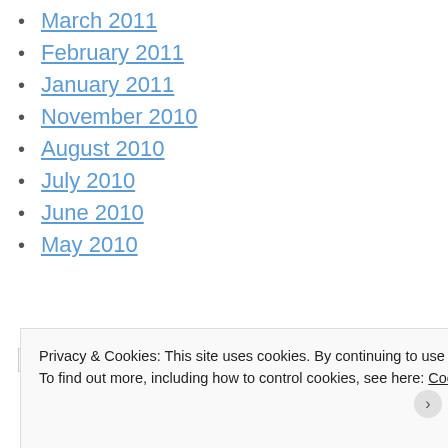March 2011
February 2011
January 2011
November 2010
August 2010
July 2010
June 2010
May 2010
[Figure (other): Broken image icon (small, top-left of advertisements section)]
Advertisements
[Figure (other): Dark advertisement banner with a white circle element visible]
Privacy & Cookies: This site uses cookies. By continuing to use this website, you agree to their use.
To find out more, including how to control cookies, see here: Cookie Policy
Close and accept